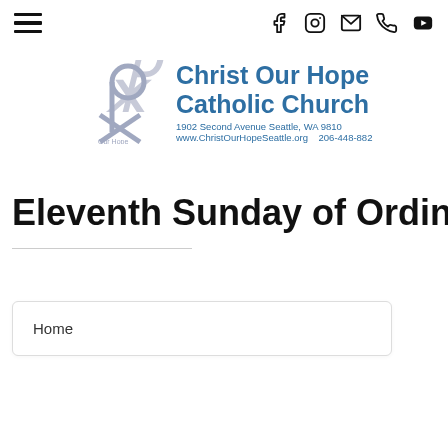Navigation bar with hamburger menu and social icons (Facebook, Instagram, Email, Phone, YouTube)
[Figure (logo): Christ Our Hope Catholic Church logo with Chi-Rho symbol and church name, address 1902 Second Avenue Seattle, WA 9810, www.ChristOurHopeSeattle.org, 206-448-882]
Eleventh Sunday of Ordinary T
Home